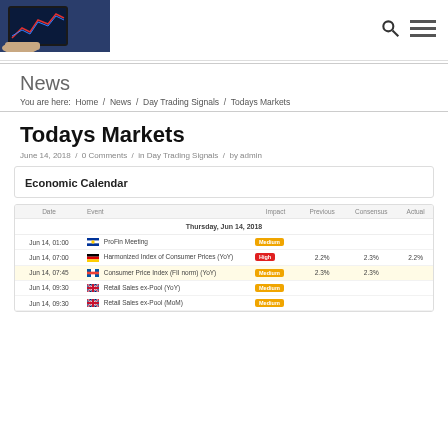[Figure (photo): Person using tablet with financial charts/trading screen, header image for financial news website]
News
You are here:  Home  /  News  /  Day Trading Signals  /  Todays Markets
Todays Markets
June 14, 2018  /  0 Comments  /  in Day Trading Signals  /  by admin
Economic Calendar
| Date | Event | Impact | Previous | Consensus | Actual |
| --- | --- | --- | --- | --- | --- |
| Thursday, Jun 14, 2018 |  |  |  |  |  |
| Jun 14, 01:00 | ProFin Meeting | Medium |  |  |  |
| Jun 14, 07:00 | Harmonized Index of Consumer Prices (YoY) | High | 2.2% | 2.3% | 2.2% |
| Jun 14, 07:45 | Consumer Price Index (FII norm) (YoY) | Medium | 2.3% | 2.3% |  |
| Jun 14, 09:30 | Retail Sales ex-Pool (YoY) | Medium |  |  |  |
| Jun 14, 09:30 | Retail Sales ex-Pool (MoM) | Medium |  |  |  |